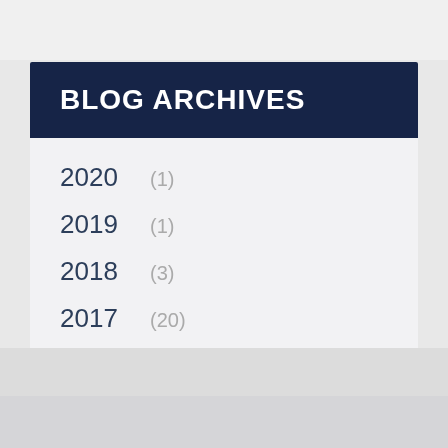BLOG ARCHIVES
2020  (1)
2019  (1)
2018  (3)
2017  (20)
2016  (36)
2015  (48)
2014  (115)